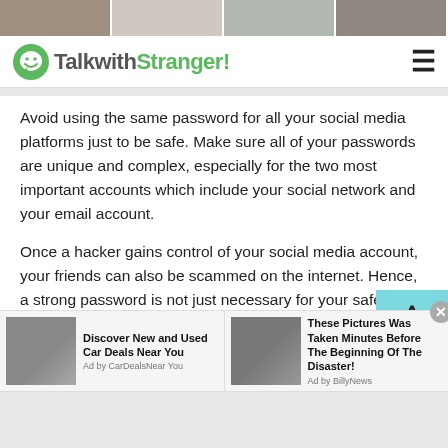[Figure (photo): Top strip with four partial photo thumbnails of people]
TalkwithStranger!
Avoid using the same password for all your social media platforms just to be safe. Make sure all of your passwords are unique and complex, especially for the two most important accounts which include your social network and your email account.
Once a hacker gains control of your social media account, your friends can also be scammed on the internet. Hence, a strong password is not just necessary for your safety, but also for the safety of your friends and contacts.
The worst part is, once they get hold of your email, they
[Figure (infographic): Advertisement bar with two ad items: 'Discover New and Used Car Deals Near You' (Ad by CarDealsNear You) and 'These Pictures Was Taken Minutes Before The Beginning Of The Disaster!' (Ad by BillyNews)]